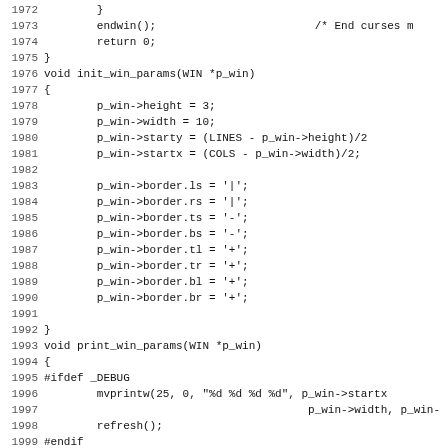Source code listing lines 1972-2003 showing C code for init_win_params, print_win_params, and create_box functions